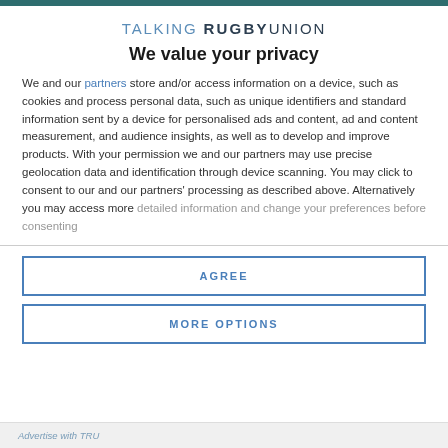TALKING RUGBY UNION
We value your privacy
We and our partners store and/or access information on a device, such as cookies and process personal data, such as unique identifiers and standard information sent by a device for personalised ads and content, ad and content measurement, and audience insights, as well as to develop and improve products. With your permission we and our partners may use precise geolocation data and identification through device scanning. You may click to consent to our and our partners' processing as described above. Alternatively you may access more detailed information and change your preferences before consenting
AGREE
MORE OPTIONS
Advertise with TRU